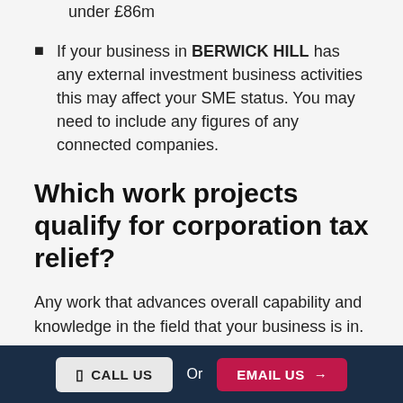under £86m
If your business in BERWICK HILL has any external investment business activities this may affect your SME status. You may need to include any figures of any connected companies.
Which work projects qualify for corporation tax relief?
Any work that advances overall capability and knowledge in the field that your business is in.
At R&D Tax Specialist, we can assist you on the best specifications, costs and prices. Make sure you contact us today for a number of great R&D Tax Specialist services in
CALL US  Or  EMAIL US →